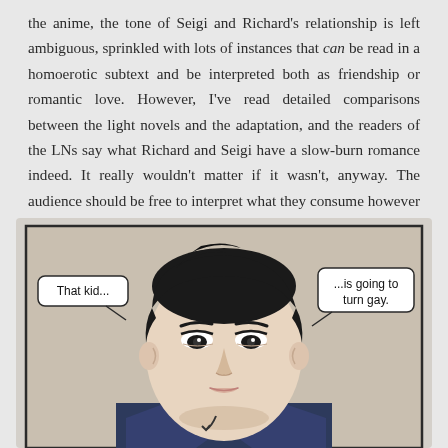the anime, the tone of Seigi and Richard's relationship is left ambiguous, sprinkled with lots of instances that can be read in a homoerotic subtext and be interpreted both as friendship or romantic love. However, I've read detailed comparisons between the light novels and the adaptation, and the readers of the LNs say what Richard and Seigi have a slow-burn romance indeed. It really wouldn't matter if it wasn't, anyway. The audience should be free to interpret what they consume however they want.
[Figure (illustration): Manga-style illustration of a dark-haired man in a suit looking forward with a neutral expression. Two speech bubbles: left bubble says 'That kid...' and right bubble says '...is going to turn gay.' with an arrow pointing downward near the bottom of the panel.]